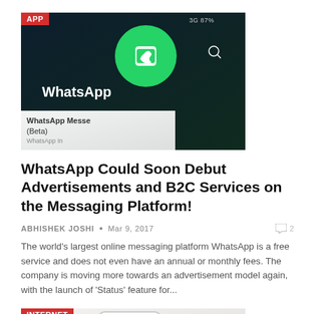[Figure (photo): WhatsApp app store listing screenshot on a dark-themed phone screen, showing the WhatsApp logo (green circle with white phone icon), 'WhatsApp' title text, 'WhatsApp Messenger' label, '(Beta)' tag, and app store UI elements. Red 'APP' badge in top-left corner.]
WhatsApp Could Soon Debut Advertisements and B2C Services on the Messaging Platform!
ABHISHEK JOSHI  •  Mar 9, 2017   💬 2
The world's largest online messaging platform WhatsApp is a free service and does not even have an annual or monthly fees. The company is moving more towards an advertisement model again, with the launch of 'Status' feature for...
[Figure (photo): A white smartphone showing a WhatsApp conversation screen, partially visible at the bottom of the page. Red 'INTERNET' badge in top-left corner.]